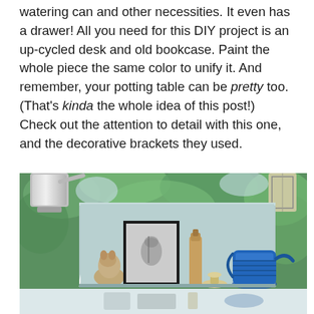watering can and other necessities. It even has a drawer! All you need for this DIY project is an up-cycled desk and old bookcase. Paint the whole piece the same color to unify it. And remember, your potting table can be pretty too. (That's kinda the whole idea of this post!) Check out the attention to detail with this one, and the decorative brackets they used.
[Figure (photo): A light blue painted shelf/bookcase unit displayed outdoors against a green leafy background. The shelf has decorative white ornate brackets and contains various garden-themed items: a stone animal figurine, a framed botanical print, a tall wooden bottle, a small pedestal dish, and a blue watering can. Below the main shelf photo is a reflection of the items on a shiny surface.]